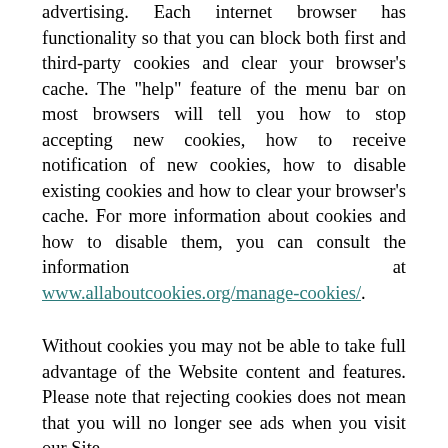advertising. Each internet browser has functionality so that you can block both first and third-party cookies and clear your browser's cache. The "help" feature of the menu bar on most browsers will tell you how to stop accepting new cookies, how to receive notification of new cookies, how to disable existing cookies and how to clear your browser's cache. For more information about cookies and how to disable them, you can consult the information at www.allaboutcookies.org/manage-cookies/.
Without cookies you may not be able to take full advantage of the Website content and features. Please note that rejecting cookies does not mean that you will no longer see ads when you visit our Site.
The Website may collect IP addresses and location information to serve personalized ads and pass it to Mediating. If you would like more information about